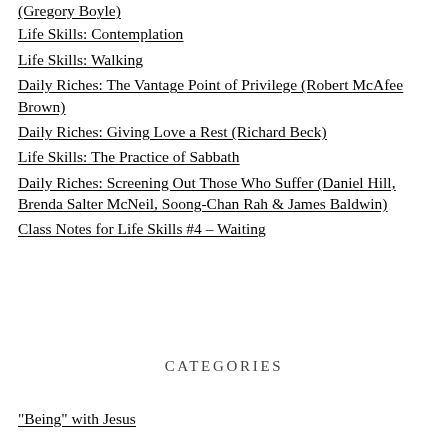(Gregory Boyle)
Life Skills: Contemplation
Life Skills: Walking
Daily Riches: The Vantage Point of Privilege (Robert McAfee Brown)
Daily Riches: Giving Love a Rest (Richard Beck)
Life Skills: The Practice of Sabbath
Daily Riches: Screening Out Those Who Suffer (Daniel Hill, Brenda Salter McNeil, Soong-Chan Rah & James Baldwin)
Class Notes for Life Skills #4 – Waiting
CATEGORIES
"Being" with Jesus